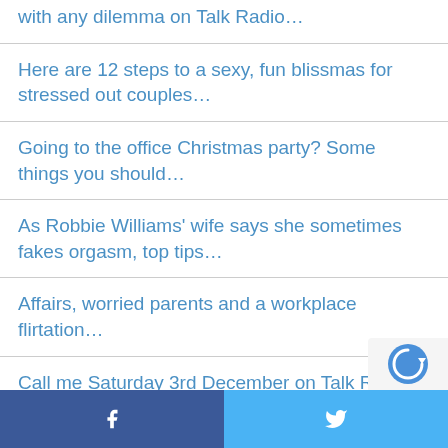with any dilemma on Talk Radio…
Here are 12 steps to a sexy, fun blissmas for stressed out couples…
Going to the office Christmas party? Some things you should…
As Robbie Williams' wife says she sometimes fakes orgasm, top tips…
Affairs, worried parents and a workplace flirtation…
Call me Saturday 3rd December on Talk Radio…